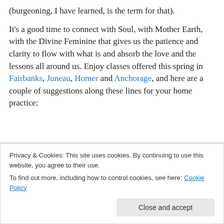(burgeoning, I have learned, is the term for that).
It's a good time to connect with Soul, with Mother Earth, with the Divine Feminine that gives us the patience and clarity to flow with what is and absorb the love and the lessons all around us. Enjoy classes offered this spring in Fairbanks, Juneau, Homer and Anchorage, and here are a couple of suggestions along these lines for your home practice:
Privacy & Cookies: This site uses cookies. By continuing to use this website, you agree to their use.
To find out more, including how to control cookies, see here: Cookie Policy
Meditation for Being Human: Balancing Heaven and Earth